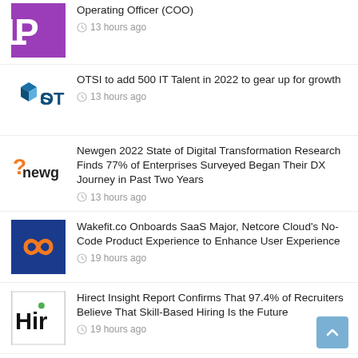Operating Officer (COO) — 13 hours ago
OTSI to add 500 IT Talent in 2022 to gear up for growth — 13 hours ago
Newgen 2022 State of Digital Transformation Research Finds 77% of Enterprises Surveyed Began Their DX Journey in Past Two Years — 13 hours ago
Wakefit.co Onboards SaaS Major, Netcore Cloud's No-Code Product Experience to Enhance User Experience — 19 hours ago
Hirect Insight Report Confirms That 97.4% of Recruiters Believe That Skill-Based Hiring Is the Future — 19 hours ago